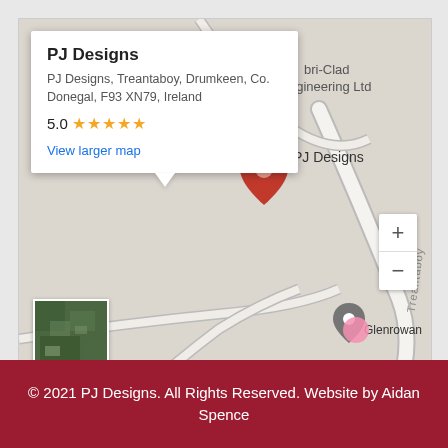[Figure (map): Google Maps screenshot showing PJ Designs location in Treantaboy, Drumkeen, Co. Donegal, Ireland. A popup card shows business name, address, 5.0 star rating, and a 'View larger map' link. Map shows road labeled 'Treantaboy' with a red location pin. Bottom bar shows Google logo, keyboard shortcuts, map data copyright 2022, and Terms of Use. Satellite thumbnail in bottom left. Zoom controls on right side.]
© 2021 PJ Designs. All Rights Reserved. Website by Aidan Spence